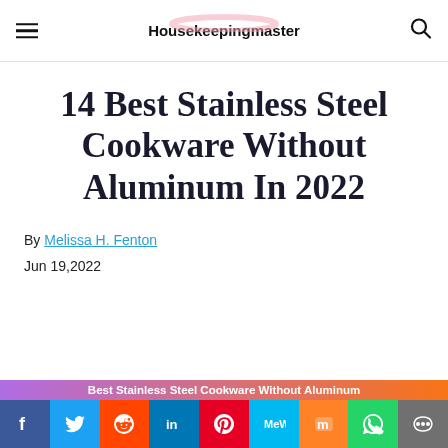Housekeepingmaster
14 Best Stainless Steel Cookware Without Aluminum In 2022
By Melissa H. Fenton
Jun 19,2022
[Figure (infographic): Social media share bar with icons for Facebook, Twitter, Reddit, LinkedIn, Pinterest, MeWe, Mix, WhatsApp, and a share icon. Above the icons is a label reading 'Best Stainless Steel Cookware Without Aluminum' on a purple-to-orange gradient bar.]